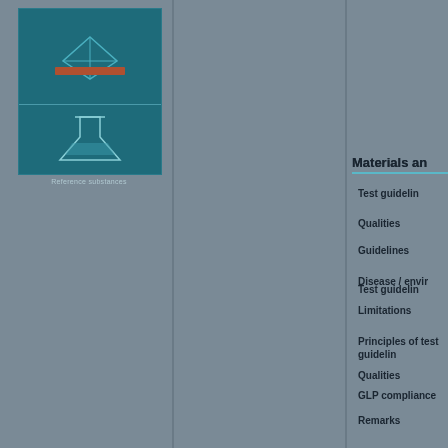[Figure (illustration): Teal/dark blue book cover with a flask/beaker icon and horizontal dividing line, with subtitle text below]
Materials an
Test guidelin
Qualities
Guidelines
Disease / envi
Limitations
Principles of test guidelin
GLP compliance
Remarks